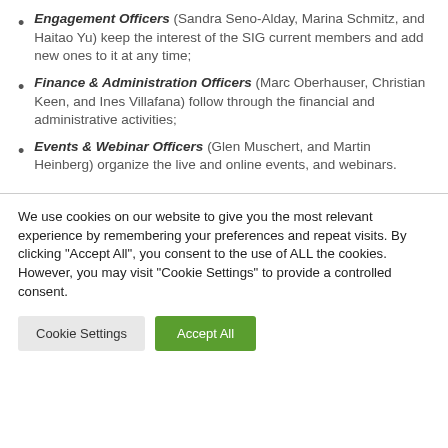Engagement Officers (Sandra Seno-Alday, Marina Schmitz, and Haitao Yu) keep the interest of the SIG current members and add new ones to it at any time;
Finance & Administration Officers (Marc Oberhauser, Christian Keen, and Ines Villafana) follow through the financial and administrative activities;
Events & Webinar Officers (Glen Muschert, and Martin Heinberg) organize the live and online events, and webinars.
We use cookies on our website to give you the most relevant experience by remembering your preferences and repeat visits. By clicking "Accept All", you consent to the use of ALL the cookies. However, you may visit "Cookie Settings" to provide a controlled consent.